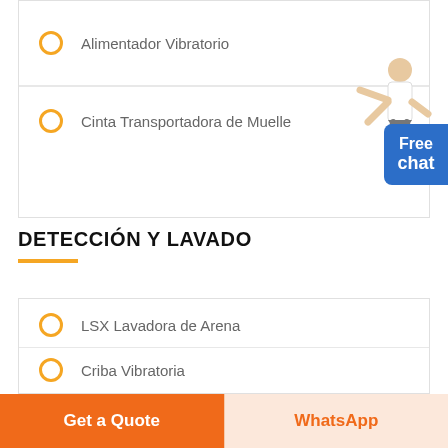Alimentador Vibratorio
Cinta Transportadora de Muelle
DETECCIÓN Y LAVADO
LSX Lavadora de Arena
Criba Vibratoria
[Figure (illustration): Customer service representative figure with Free chat badge]
Get a Quote
WhatsApp